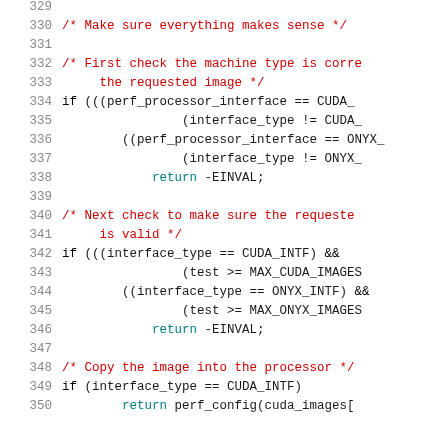Source code listing, lines 329-350, C code with syntax highlighting
330: /* Make sure everything makes sense */
331: (blank)
332: /* First check the machine type is corre
333:     the requested image */
334: if (((perf_processor_interface == CUDA_
335:                 (interface_type != CUDA_
336:         ((perf_processor_interface == ONYX_
337:                 (interface_type != ONYX_
338:             return -EINVAL;
339: (blank)
340: /* Next check to make sure the requeste
341:     is valid */
342: if (((interface_type == CUDA_INTF) &&
343:                 (test >= MAX_CUDA_IMAGES
344:         ((interface_type == ONYX_INTF) &&
345:                 (test >= MAX_ONYX_IMAGES
346:             return -EINVAL;
347: (blank)
348: /* Copy the image into the processor */
349: if (interface_type == CUDA_INTF)
350:         return perf_config(cuda_images[